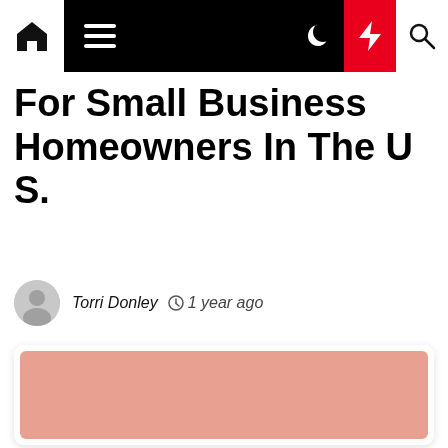Navigation bar with home, menu, moon, bolt, and search icons
For Small Business Homeowners In The U S.
Torri Donley  1 year ago
[Figure (photo): A salmon/peach-colored rectangular image placeholder inside a rounded card]